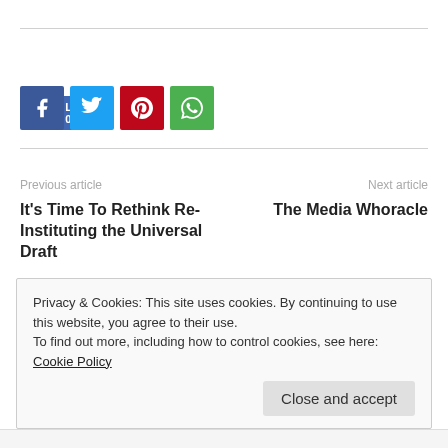[Figure (other): Facebook Like button showing Like 0]
[Figure (other): Social sharing icons: Facebook (blue), Twitter (light blue), Pinterest (red), WhatsApp (green)]
Previous article
Next article
It's Time To Rethink Re-Instituting the Universal Draft
The Media Whoracle
Privacy & Cookies: This site uses cookies. By continuing to use this website, you agree to their use.
To find out more, including how to control cookies, see here: Cookie Policy
Close and accept